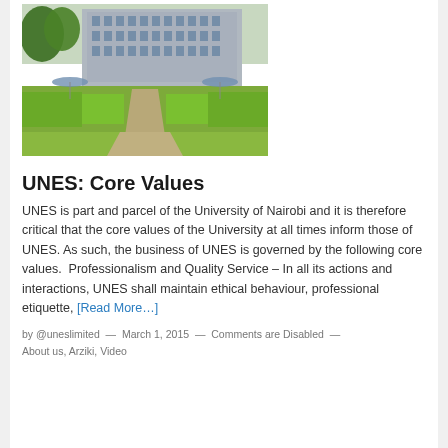[Figure (photo): Outdoor courtyard of University of Nairobi building with hedged garden paths, umbrella tables, and a multi-story concrete building in the background]
UNES: Core Values
UNES is part and parcel of the University of Nairobi and it is therefore critical that the core values of the University at all times inform those of UNES. As such, the business of UNES is governed by the following core values.  Professionalism and Quality Service – In all its actions and interactions, UNES shall maintain ethical behaviour, professional etiquette, [Read More…]
by @uneslimited  —  March 1, 2015  —  Comments are Disabled  —
About us, Arziki, Video